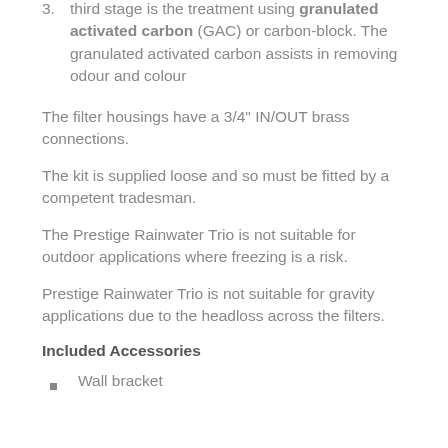3. third stage is the treatment using granulated activated carbon (GAC) or carbon-block. The granulated activated carbon assists in removing odour and colour
The filter housings have a 3/4" IN/OUT brass connections.
The kit is supplied loose and so must be fitted by a competent tradesman.
The Prestige Rainwater Trio is not suitable for outdoor applications where freezing is a risk.
Prestige Rainwater Trio is not suitable for gravity applications due to the headloss across the filters.
Included Accessories
Wall bracket